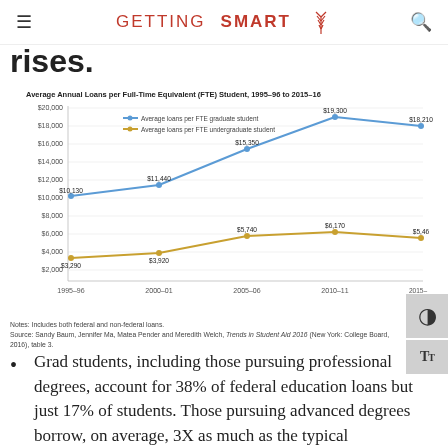GETTING SMART
rises.
[Figure (line-chart): Average Annual Loans per Full-Time Equivalent (FTE) Student, 1995–96 to 2015–16]
Notes: Includes both federal and non-federal loans.
Source: Sandy Baum, Jennifer Ma, Matea Pender and Meredith Welch, Trends in Student Aid 2016 (New York: College Board, 2016), table 3.
Grad students, including those pursuing professional degrees, account for 38% of federal education loans but just 17% of students. Those pursuing advanced degrees borrow, on average, 3X as much as the typical undergraduate—$18,210 compared